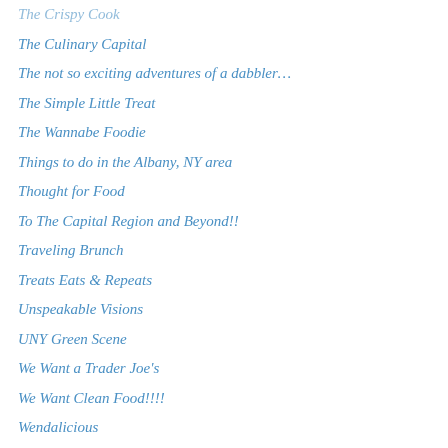The Crispy Cook
The Culinary Capital
The not so exciting adventures of a dabbler…
The Simple Little Treat
The Wannabe Foodie
Things to do in the Albany, NY area
Thought for Food
To The Capital Region and Beyond!!
Traveling Brunch
Treats Eats & Repeats
Unspeakable Visions
UNY Green Scene
We Want a Trader Joe's
We Want Clean Food!!!!
Wendalicious
Zack Hutchins
Zee Lemons
Archives